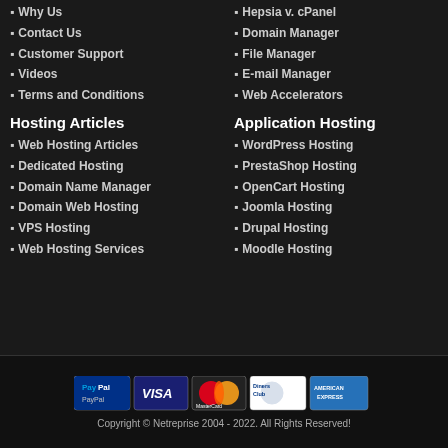Why Us
Contact Us
Customer Support
Videos
Terms and Conditions
Hosting Articles
Web Hosting Articles
Dedicated Hosting
Domain Name Manager
Domain Web Hosting
VPS Hosting
Web Hosting Services
Hepsia v. cPanel
Domain Manager
File Manager
E-mail Manager
Web Accelerators
Application Hosting
WordPress Hosting
PrestaShop Hosting
OpenCart Hosting
Joomla Hosting
Drupal Hosting
Moodle Hosting
[Figure (other): Payment method icons: PayPal, Visa, MasterCard, Diners Club, American Express]
Copyright © Netreprise 2004 - 2022. All Rights Reserved!